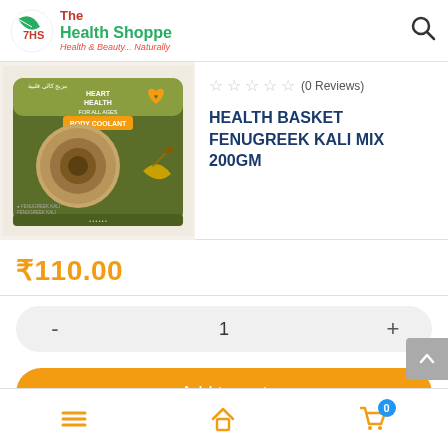The Health Shoppe – Health & Beauty... Naturally
[Figure (photo): Product image of Health Basket Fenugreek Kali Mix 200GM – a pouch with olive/brown packaging labeled Heart Health For All Ages, Body Coolant, Unique, with decorative elements]
(0 Reviews)
HEALTH BASKET FENUGREEK KALI MIX 200GM
₹110.00
- 1 +
Add to cart
Navigation: Menu | Home | Cart (0)